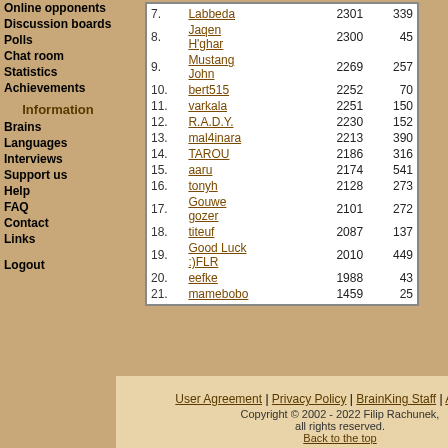Online opponents
Discussion boards
Polls
Chat room
Statistics
Achievements
Information
Brains
Languages
Interviews
Support us
Help
FAQ
Contact
Links
Logout
| # | Name | Rating | Games |
| --- | --- | --- | --- |
| 7. | Labbeda | 2301 | 339 |
| 8. | Jaqen H'ghar | 2300 | 45 |
| 9. | Mustang John | 2269 | 257 |
| 10. | bert515 | 2252 | 70 |
| 11. | varkala | 2251 | 150 |
| 12. | R.A.D.Y. | 2230 | 152 |
| 13. | mal4inara | 2213 | 390 |
| 14. | TAROU | 2186 | 316 |
| 15. | aaru | 2174 | 541 |
| 16. | tonyh | 2128 | 273 |
| 17. | Gouwe gozer | 2101 | 272 |
| 18. | titeuf | 2087 | 137 |
| 19. | Good Luck :)FLR | 2010 | 449 |
| 20. | eefke | 1988 | 43 |
| 21. | mamebobo | 1459 | 25 |
User Agreement | Privacy Policy | BrainKing Staff | Advertising
Copyright © 2002 - 2022 Filip Rachunek, all rights reserved.
Back to the top